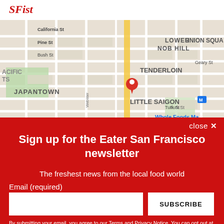SFist
[Figure (map): Google Maps view of San Francisco showing Japantown, Lower Nob Hill, Tenderloin, Little Saigon, Union Square areas with a red map pin marker and yellow highlighted street.]
close ✕
Sign up for the Eater San Francisco newsletter
The freshest news from the local food world
Email (required)
SUBSCRIBE
By submitting your email, you agree to our Terms and Privacy Notice. You can opt out at any time. This site is protected by reCAPTCHA and the Google Privacy Policy and Terms of Service apply.